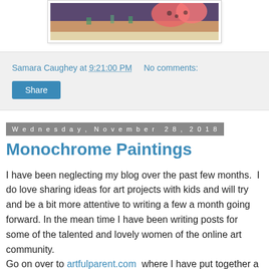[Figure (photo): Partial image of artwork visible at top of page, showing colorful painting with pink/orange shapes on dark background]
Samara Caughey at 9:21:00 PM    No comments:
Share
Wednesday, November 28, 2018
Monochrome Paintings
I have been neglecting my blog over the past few months.  I do love sharing ideas for art projects with kids and will try and be a bit more attentive to writing a few a month going forward. In the mean time I have been writing posts for some of the talented and lovely women of the online art community.
Go on over to artfulparent.com  where I have put together a post on creating these monochrome collage paintings with toddlers. This early childhood project is a fantastic way to